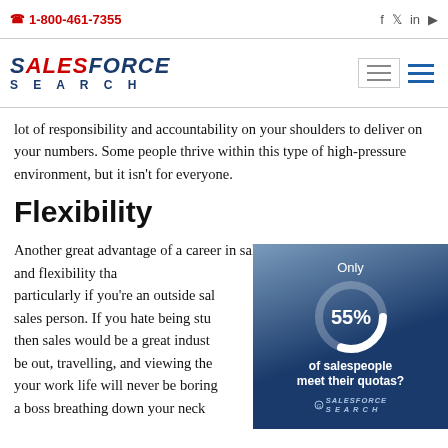☎ 1-800-461-7355
[Figure (logo): SalesForce Search company logo with navigation hamburger menus]
lot of responsibility and accountability on your shoulders to deliver on your numbers. Some people thrive within this type of high-pressure environment, but it isn't for everyone.
Flexibility
Another great advantage of a career in sales is the high level of freedom and flexibility tha… particularly if you're an outside sal… sales person. If you hate being stu… then sales would be a great indust… be out, travelling, and viewing the… your work life will never be boring… a boss breathing down your neck …
[Figure (donut-chart): Only 55% of salespeople meet their quotas?]